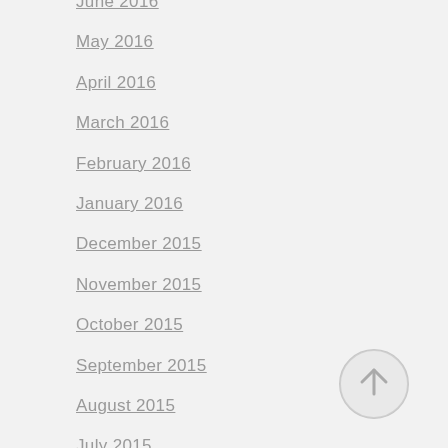June 2016
May 2016
April 2016
March 2016
February 2016
January 2016
December 2015
November 2015
October 2015
September 2015
August 2015
July 2015